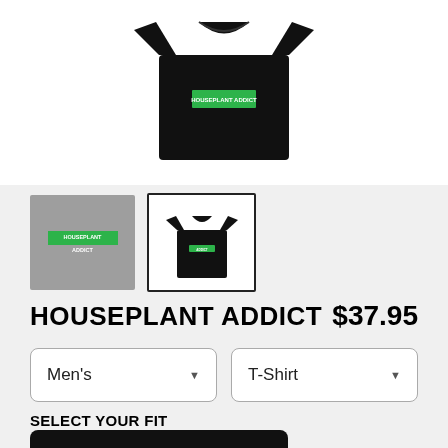[Figure (photo): Black t-shirt with Houseplant Addict design shown from front, displayed on white background]
[Figure (photo): Two product thumbnails: first shows green brush-stroke text design on grey background, second shows black t-shirt with Houseplant Addict text (currently selected with black border)]
HOUSEPLANT ADDICT   $37.95
Men's
T-Shirt
SELECT YOUR FIT
$37.95
Premium